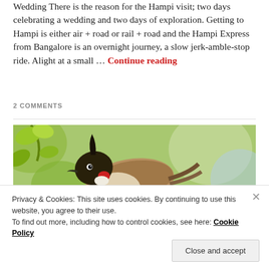Wedding There is the reason for the Hampi visit; two days celebrating a wedding and two days of exploration. Getting to Hampi is either air + road or rail + road and the Hampi Express from Bangalore is an overnight journey, a slow jerk-amble-stop ride. Alight at a small … Continue reading
2 COMMENTS
[Figure (photo): Close-up photograph of a bird (Red-whiskered Bulbul) perched among green leaves, with a red cheek patch and dark head visible]
Privacy & Cookies: This site uses cookies. By continuing to use this website, you agree to their use. To find out more, including how to control cookies, see here: Cookie Policy